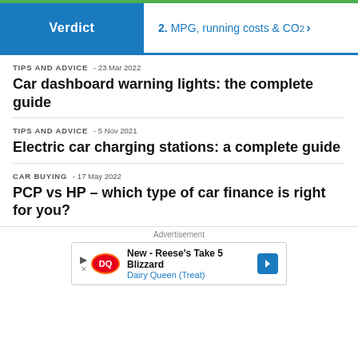Verdict | 2. MPG, running costs & CO2 >
TIPS AND ADVICE  - 23 Mar 2022
Car dashboard warning lights: the complete guide
TIPS AND ADVICE  - 5 Nov 2021
Electric car charging stations: a complete guide
CAR BUYING  - 17 May 2022
PCP vs HP – which type of car finance is right for you?
Advertisement
[Figure (other): Dairy Queen advertisement banner: New - Reese's Take 5 Blizzard, Dairy Queen (Treat)]